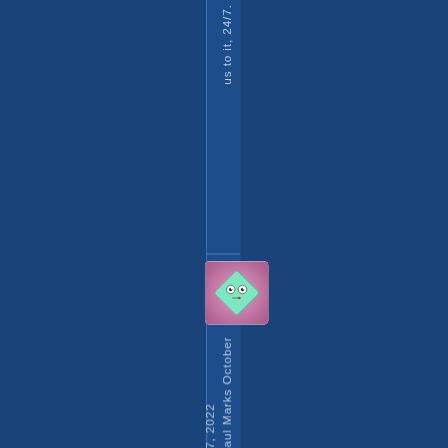us to it, 24/7.
[Figure (illustration): A cartoon character icon: a green diamond-shaped face with white circular eyes and a small red mouth, on a pink/purple radial gradient background, rounded rectangle frame.]
Paul Marks October 17, 2022